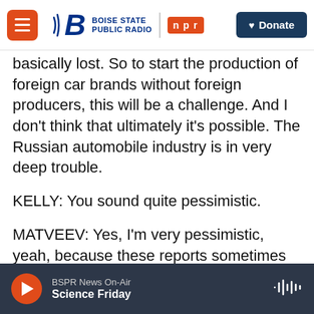Boise State Public Radio | NPR | Donate
basically lost. So to start the production of foreign car brands without foreign producers, this will be a challenge. And I don't think that ultimately it's possible. The Russian automobile industry is in very deep trouble.
KELLY: You sound quite pessimistic.
MATVEEV: Yes, I'm very pessimistic, yeah, because these reports sometimes appearing in Western newspapers that I saw KFCs in Moscow, and they are full of people, therefore sanctions do not work. So I think that these reports are really not indicative of what's really going on in the Russian economy.
BSPR News On-Air | Science Friday